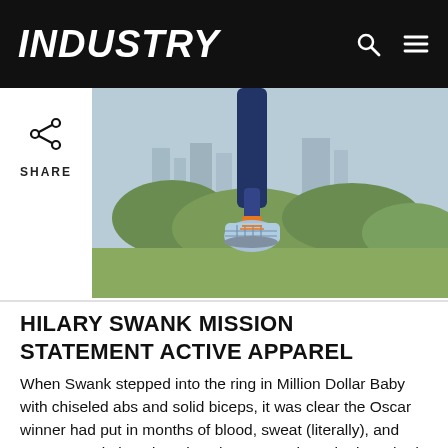INDUSTRY
[Figure (photo): Outdoor photo of a person jumping, wearing light blue sneakers with orange accents and dark athletic pants, with greenery and a cityscape in the background.]
HILARY SWANK MISSION STATEMENT ACTIVE APPAREL
When Swank stepped into the ring in Million Dollar Baby with chiseled abs and solid biceps, it was clear the Oscar winner had put in months of blood, sweat (literally), and tears to get in jaw-dropping shape. So when she launched an activewear line in 2016, she already had the street cred. Mission Statement is a crossover collection of contemporary streetwear